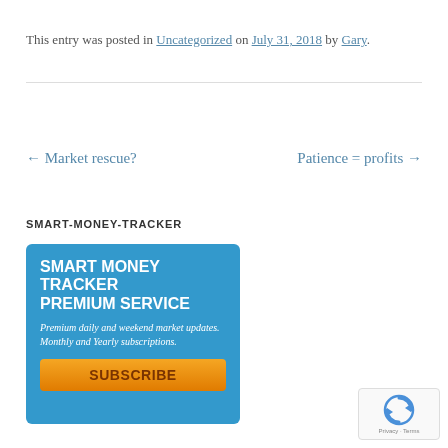This entry was posted in Uncategorized on July 31, 2018 by Gary.
← Market rescue?   Patience = profits →
SMART-MONEY-TRACKER
[Figure (infographic): Smart Money Tracker Premium Service advertisement banner with blue background, white bold text reading SMART MONEY TRACKER PREMIUM SERVICE, italic description text Premium daily and weekend market updates. Monthly and Yearly subscriptions., and an orange SUBSCRIBE button.]